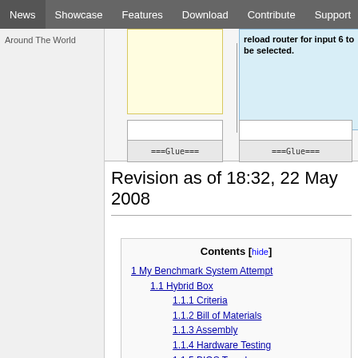News | Showcase | Features | Download | Contribute | Support
Around The World
[Figure (screenshot): Partial UI diagram showing yellow and white boxes connected by lines, with a blue tooltip box reading 'reload router for input 6 to be selected.' and two Glue blocks at the bottom.]
Revision as of 18:32, 22 May 2008
Contents [hide]
1 My Benchmark System Attempt
1.1 Hybrid Box
1.1.1 Criteria
1.1.2 Bill of Materials
1.1.3 Assembly
1.1.4 Hardware Testing
1.1.5 BIOS Tweaks
1.1.6 LinuxMCE Install
1.1.6.1 Bare-metal